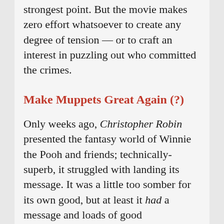strongest point. But the movie makes zero effort whatsoever to create any degree of tension — or to craft an interest in puzzling out who committed the crimes.
Make Muppets Great Again (?)
Only weeks ago, Christopher Robin presented the fantasy world of Winnie the Pooh and friends; technically-superb, it struggled with landing its message. It was a little too somber for its own good, but at least it had a message and loads of good